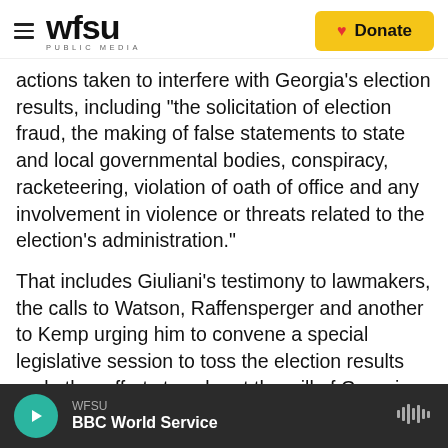WFSU PUBLIC MEDIA | Donate
actions taken to interfere with Georgia's election results, including "the solicitation of election fraud, the making of false statements to state and local governmental bodies, conspiracy, racketeering, violation of oath of office and any involvement in violence or threats related to the election's administration."
That includes Giuliani's testimony to lawmakers, the calls to Watson, Raffensperger and another to Kemp urging him to convene a special legislative session to toss the election results and other efforts to subvert the will of Georgia voters.
WFSU | BBC World Service